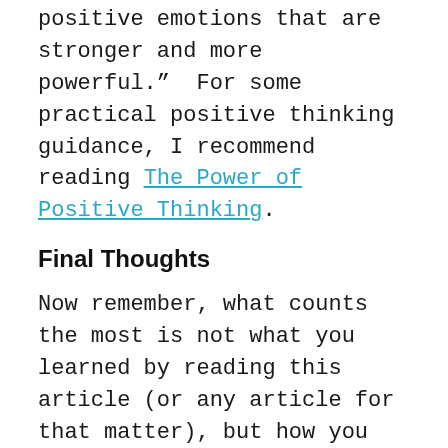positive emotions that are stronger and more powerful.”  For some practical positive thinking guidance, I recommend reading The Power of Positive Thinking.
Final Thoughts
Now remember, what counts the most is not what you learned by reading this article (or any article for that matter), but how you apply this knowledge.  You must take action.  So start small, but start now.
Choose one of the seven bullet points above that speaks to you the loudest and practice it for a few minutes today, tomorrow and every day for the next several months. Eventually, one day, without even thinking